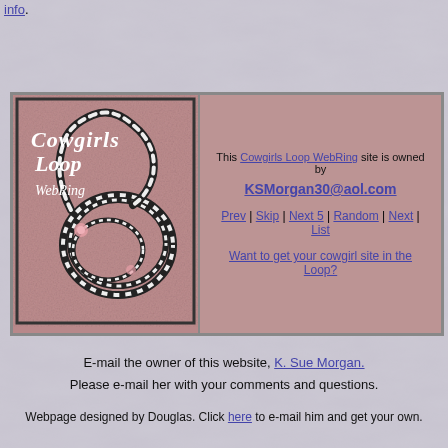info.
[Figure (illustration): Cowgirls Loop WebRing banner with rope lasso image on pink/mauve background with italic text 'Cowgirls Loop WebRing']
This Cowgirls Loop WebRing site is owned by KSMorgan30@aol.com
Prev | Skip | Next 5 | Random | Next | List
Want to get your cowgirl site in the Loop?
E-mail the owner of this website, K. Sue Morgan.
Please e-mail her with your comments and questions.
Webpage designed by Douglas. Click here to e-mail him and get your own.